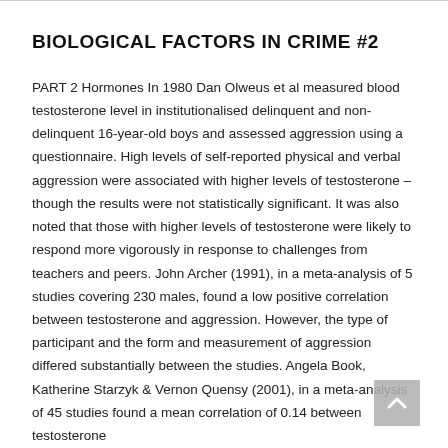BIOLOGICAL FACTORS IN CRIME #2
PART 2 Hormones In 1980 Dan Olweus et al measured blood testosterone level in institutionalised delinquent and non-delinquent 16-year-old boys and assessed aggression using a questionnaire. High levels of self-reported physical and verbal aggression were associated with higher levels of testosterone – though the results were not statistically significant. It was also noted that those with higher levels of testosterone were likely to respond more vigorously in response to challenges from teachers and peers. John Archer (1991), in a meta-analysis of 5 studies covering 230 males, found a low positive correlation between testosterone and aggression. However, the type of participant and the form and measurement of aggression differed substantially between the studies. Angela Book, Katherine Starzyk & Vernon Quensy (2001), in a meta-analysis of 45 studies found a mean correlation of 0.14 between testosterone